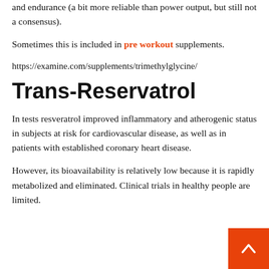and endurance (a bit more reliable than power output, but still not a consensus).
Sometimes this is included in pre workout supplements.
https://examine.com/supplements/trimethylglycine/
Trans-Reservatrol
In tests resveratrol improved inflammatory and atherogenic status in subjects at risk for cardiovascular disease, as well as in patients with established coronary heart disease.
However, its bioavailability is relatively low because it is rapidly metabolized and eliminated. Clinical trials in healthy people are limited.